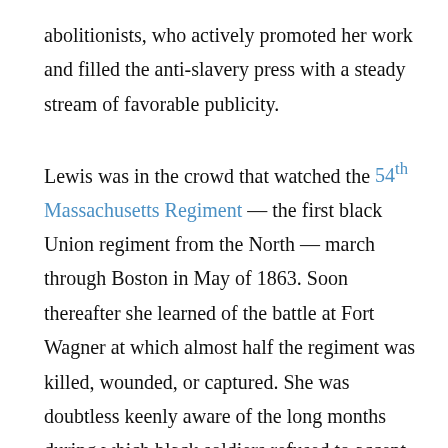abolitionists, who actively promoted her work and filled the anti-slavery press with a steady stream of favorable publicity.

Lewis was in the crowd that watched the 54th Massachusetts Regiment — the first black Union regiment from the North — march through Boston in May of 1863. Soon thereafter she learned of the battle at Fort Wagner at which almost half the regiment was killed, wounded, or captured. She was doubtless keenly aware of the long months during which black soldiers refused to accept any pay unless it were equal to that of white soldiers. In 1864, when the